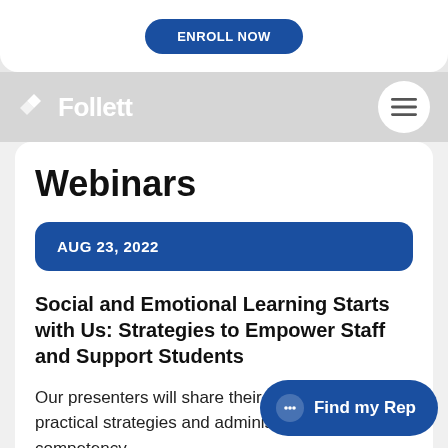ENROLL NOW
Follett
Webinars
AUG 23, 2022
Social and Emotional Learning Starts with Us: Strategies to Empower Staff and Support Students
Our presenters will share their expertise and practical strategies and administrators buil competency